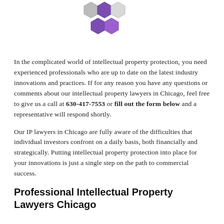[Figure (logo): Hexagonal honeycomb-style logo with purple and grey hexagons arranged in a cluster]
In the complicated world of intellectual property protection, you need experienced professionals who are up to date on the latest industry innovations and practices. If for any reason you have any questions or comments about our intellectual property lawyers in Chicago, feel free to give us a call at 630-417-7553 or fill out the form below and a representative will respond shortly.
Our IP lawyers in Chicago are fully aware of the difficulties that individual investors confront on a daily basis, both financially and strategically. Putting intellectual property protection into place for your innovations is just a single step on the path to commercial success.
Professional Intellectual Property Lawyers Chicago